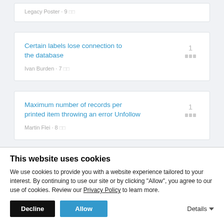Legacy Poster · 9 □□
Certain labels lose connection to the database
Ivan Burden · 7 □□
1 □□□
Maximum number of records per printed item throwing an error Unfollow
Martin Flei · 8 □□
1 □□□
This website uses cookies
We use cookies to provide you with a website experience tailored to your interest. By continuing to use our site or by clicking "Allow", you agree to our use of cookies. Review our Privacy Policy to learn more.
Decline
Allow
Details ▾